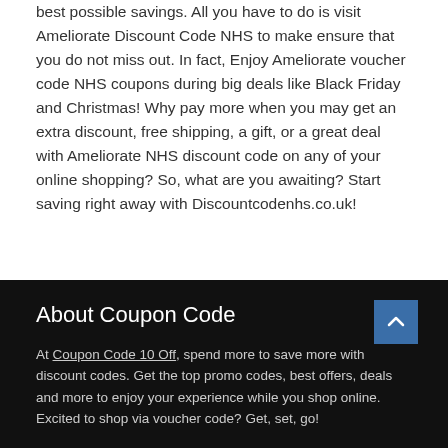best possible savings. All you have to do is visit Ameliorate Discount Code NHS to make ensure that you do not miss out. In fact, Enjoy Ameliorate voucher code NHS coupons during big deals like Black Friday and Christmas! Why pay more when you may get an extra discount, free shipping, a gift, or a great deal with Ameliorate NHS discount code on any of your online shopping? So, what are you awaiting? Start saving right away with Discountcodenhs.co.uk!
About Coupon Code
At Coupon Code 10 Off, spend more to save more with discount codes. Get the top promo codes, best offers, deals and more to enjoy your experience while you shop online. Excited to shop via voucher code? Get, set, go!